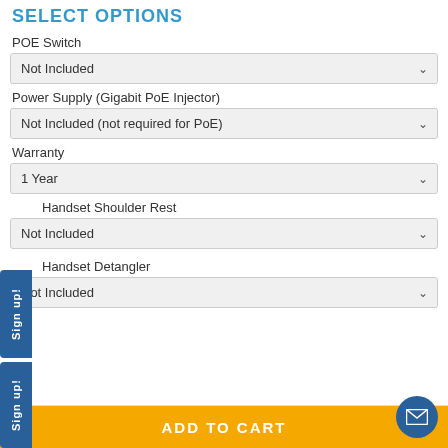SELECT OPTIONS
POE Switch
Not Included
Power Supply (Gigabit PoE Injector)
Not Included (not required for PoE)
Warranty
1 Year
Handset Shoulder Rest
Not Included
Handset Detangler
Not Included
ADD TO CART